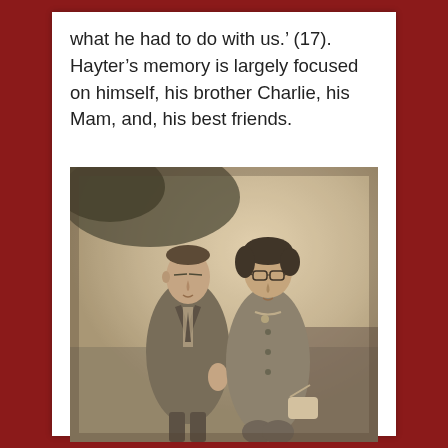what he had to do with us.' (17). Hayter's memory is largely focused on himself, his brother Charlie, his Mam, and, his best friends.
[Figure (photo): A sepia-toned vintage photograph of a man and a woman standing together outdoors. The man on the left wears a suit with a tie and has short hair. The woman on the right wears glasses, a coat, and carries a handbag. Trees and an outdoor setting appear in the background.]